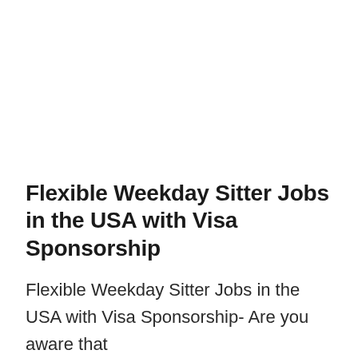Flexible Weekday Sitter Jobs in the USA with Visa Sponsorship
Flexible Weekday Sitter Jobs in the USA with Visa Sponsorship- Are you aware that